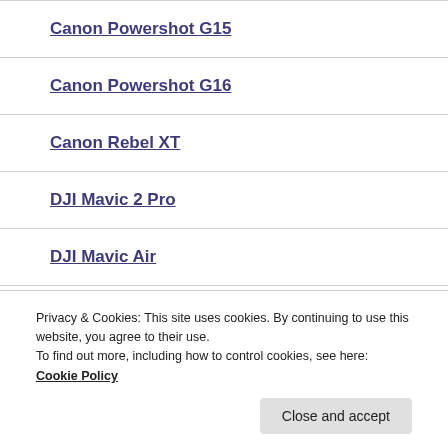Canon Powershot G15
Canon Powershot G16
Canon Rebel XT
DJI Mavic 2 Pro
DJI Mavic Air
DJI Phantom 3 Pro
Privacy & Cookies: This site uses cookies. By continuing to use this website, you agree to their use.
To find out more, including how to control cookies, see here: Cookie Policy
DJI Phantom 3 Pro S